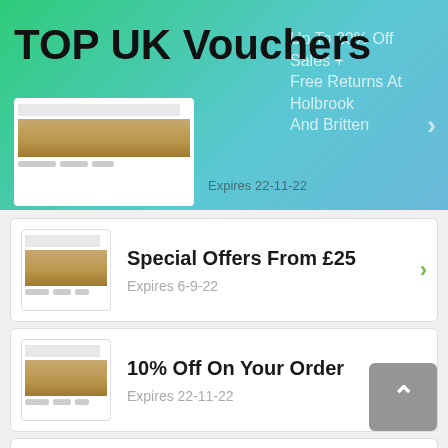TOP UK Vouchers
Up To 20% Off Sales + Free Returns At Holbrook And Britten
Expires 22-11-22
Special Offers From £25 — Expires 6-9-22
10% Off On Your Order — Expires 22-11-22
20% Any Order